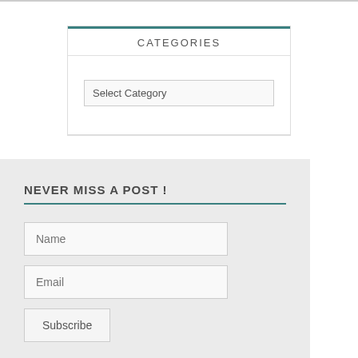CATEGORIES
Select Category
NEVER MISS A POST !
Name
Email
Subscribe